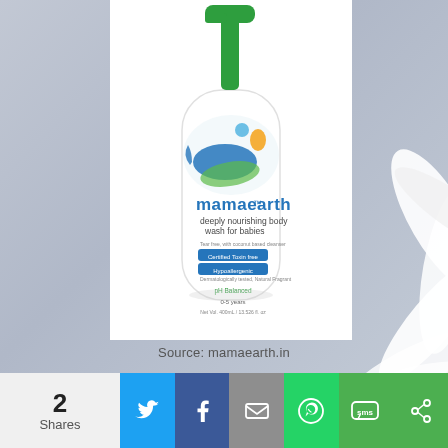[Figure (photo): Mamaearth Deeply Nourishing Body Wash for Babies product bottle with green pump dispenser. White bottle with colorful label. Text on label: mamaearth, deeply nourishing body wash for babies, Tear free, with coconut based cleanser, Certified Toxin free, Hypoallergenic, Dermatologically tested, Natural Fragrant, pH Balanced, 0-5 years, Net Vol. 400mL / 13.526 fl. oz.]
Source: mamaearth.in
2 Shares